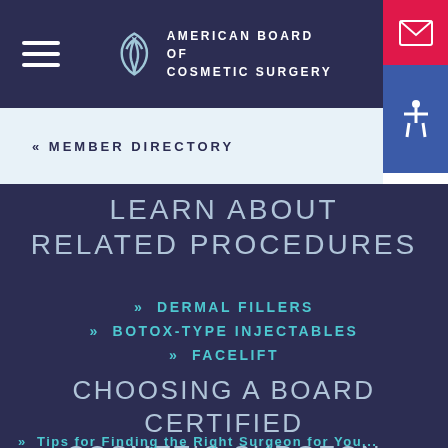AMERICAN BOARD OF COSMETIC SURGERY
« MEMBER DIRECTORY
LEARN ABOUT RELATED PROCEDURES
» DERMAL FILLERS
» BOTOX-TYPE INJECTABLES
» FACELIFT
CHOOSING A BOARD CERTIFIED COSMETIC SURGEON
» Tips for Finding the Right Surgeon for You...